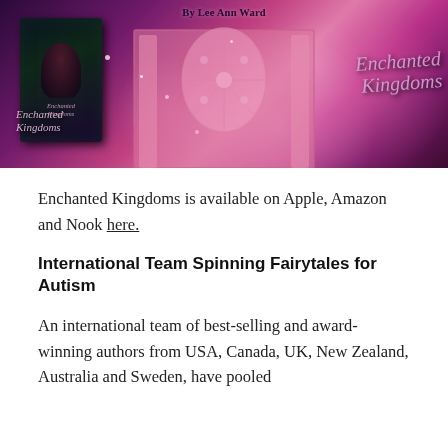[Figure (illustration): Promotional banner for 'Enchanted Kingdoms' by Lee Ann Ward. Shows a book cover on a tablet on the left featuring a woman with red hair in a dark fantasy setting, a pink ornate architectural background in the center, and stylized 'Enchanted Kingdoms' calligraphic title text on the right. Pink and purple color scheme with sparkle effects.]
Enchanted Kingdoms is available on Apple, Amazon and Nook here.
International Team Spinning Fairytales for Autism
An international team of best-selling and award-winning authors from USA, Canada, UK, New Zealand, Australia and Sweden, have pooled